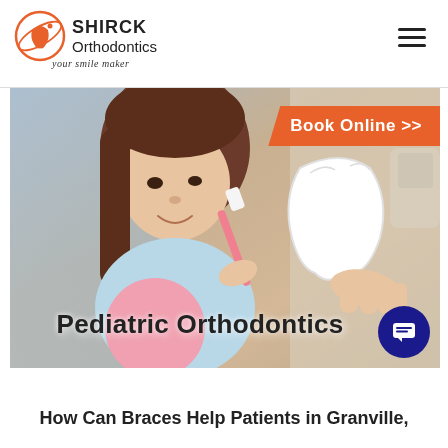[Figure (logo): Shirck Orthodontics logo with orange tooth/smile icon and tagline 'your smile maker']
[Figure (photo): Young girl with long brown hair using a pink toothbrush on a large white tooth model held by a dental professional's hand, in a dental office setting. Orange 'Book Online >>' banner in top right. Overlay text reads 'Pediatric Orthodontics'. Dark blue chat button in bottom right.]
How Can Braces Help Patients in Granville,